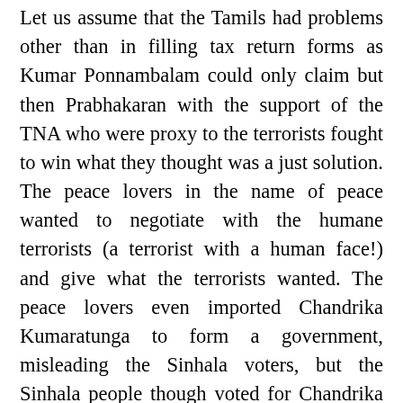Let us assume that the Tamils had problems other than in filling tax return forms as Kumar Ponnambalam could only claim but then Prabhakaran with the support of the TNA who were proxy to the terrorists fought to win what they thought was a just solution. The peace lovers in the name of peace wanted to negotiate with the humane terrorists (a terrorist with a human face!) and give what the terrorists wanted. The peace lovers even imported Chandrika Kumaratunga to form a government, misleading the Sinhala voters, but the Sinhala people though voted for Chandrika did not allow her to give what the Tamil racists and the peace lovers wanted. It was left to Ranil Wickremesinghe, who was not the President of the country to go outside the constitution and sign a ceasefire agreement. The peace lovers were interested in peace at any cost to the Sinhalas but the Sinhala people were not to be fooled by the peace talks of the former. The “war” continued and finally Mahinda Rajapakse standing up to the pressure of the Judaic Christian west was able to give political leadership to the armed forces to defeat the